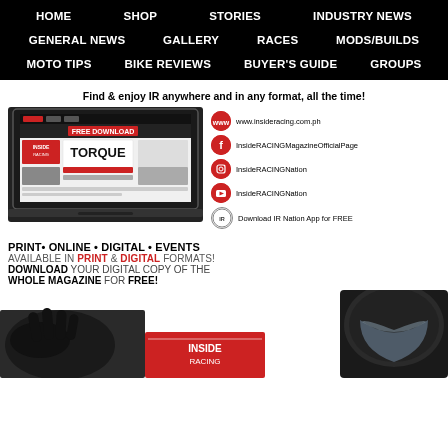HOME  SHOP  STORIES  INDUSTRY NEWS
GENERAL NEWS  GALLERY  RACES  MODS/BUILDS
MOTO TIPS  BIKE REVIEWS  BUYER'S GUIDE  GROUPS
Find & enjoy IR anywhere and in any format, all the time!
[Figure (screenshot): Laptop showing InsideRacing website with Torque magazine cover]
www.insideracing.com.ph
InsideRACINGMagazineOfficialPage
InsideRACINGNation
InsideRACINGNation
Download IR Nation App for FREE
PRINT• ONLINE • DIGITAL • EVENTS
AVAILABLE IN PRINT & DIGITAL FORMATS!
DOWNLOAD YOUR DIGITAL COPY OF THE WHOLE MAGAZINE FOR FREE!
[Figure (photo): Motorcycle gloves, helmet and magazine at bottom of page]